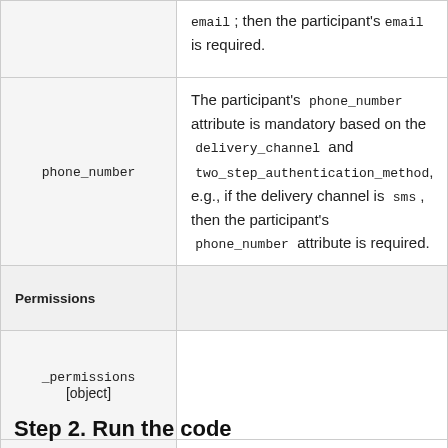| Parameter | Description |
| --- | --- |
|  | email; then the participant's email is required. |
| phone_number | The participant's phone_number attribute is mandatory based on the delivery_channel and two_step_authentication_method, e.g., if the delivery channel is sms, then the participant's phone_number attribute is required. |
| Permissions |  |
| _permissions [object] |  |
| contract:update | When set to true, the participant can make changes to the contract. Please read more about permissions here. |
Step 2. Run the code